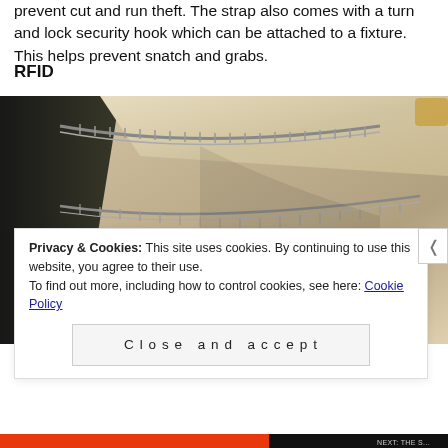prevent cut and run theft. The strap also comes with a turn and lock security hook which can be attached to a fixture. This helps prevent snatch and grabs.
RFID
[Figure (photo): Close-up photo of the interior of a bag showing a zipper and fabric lining, with a small round black RFID SHIELD badge visible on the interior pocket.]
Privacy & Cookies: This site uses cookies. By continuing to use this website, you agree to their use.
To find out more, including how to control cookies, see here: Cookie Policy
Close and accept